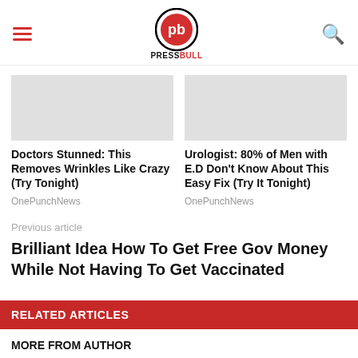PRESSBULL
[Figure (other): Blank image placeholder for first ad card]
Doctors Stunned: This Removes Wrinkles Like Crazy (Try Tonight)
OnePunchNews
[Figure (other): Blank image placeholder for second ad card]
Urologist: 80% of Men with E.D Don't Know About This Easy Fix (Try It Tonight)
OnePunchNews
Previous article
Brilliant Idea How To Get Free Gov Money While Not Having To Get Vaccinated
RELATED ARTICLES
MORE FROM AUTHOR